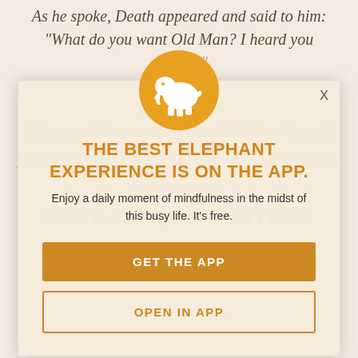As he spoke, Death appeared and said to him: "What do you want Old Man? I heard you call me."
"Please, sir" answered the Old Man, "would you kindly help me lift this load of sticks on to my shoulder?"
Your story is waiting.
[Figure (logo): Elephant app logo: white elephant silhouette on orange/golden circular background]
THE BEST ELEPHANT EXPERIENCE IS ON THE APP.
Enjoy a daily moment of mindfulness in the midst of this busy life. It's free.
GET THE APP
OPEN IN APP